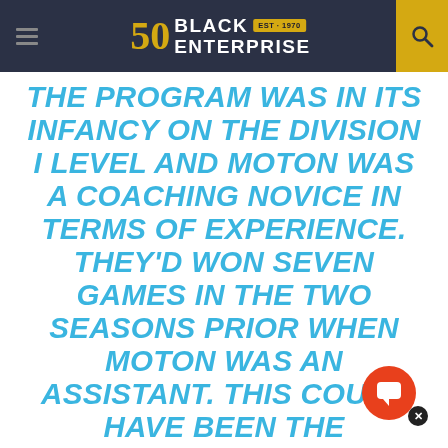Black Enterprise — Est. 1970
THE PROGRAM WAS IN ITS INFANCY ON THE DIVISION I LEVEL AND MOTON WAS A COACHING NOVICE IN TERMS OF EXPERIENCE. THEY'D WON SEVEN GAMES IN THE TWO SEASONS PRIOR WHEN MOTON WAS AN ASSISTANT. THIS COULD HAVE BEEN THE PINNACLE, THE NADIR, THE BEGINNING AND THE END